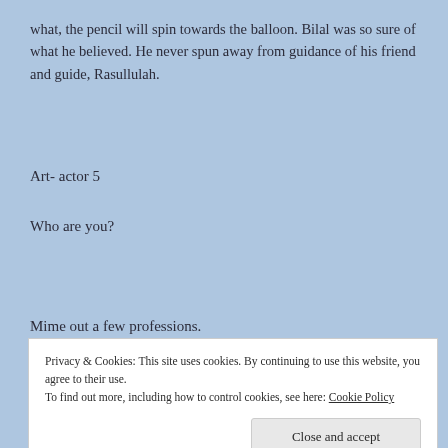what, the pencil will spin towards the balloon. Bilal was so sure of what he believed. He never spun away from guidance of his friend and guide, Rasullulah.
Art- actor 5
Who are you?
Mime out a few professions.
Privacy & Cookies: This site uses cookies. By continuing to use this website, you agree to their use. To find out more, including how to control cookies, see here: Cookie Policy